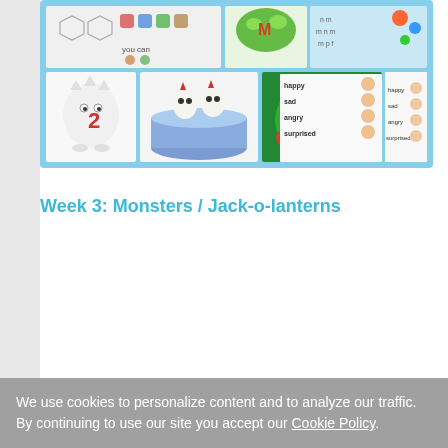[Figure (photo): A collage of monster-themed educational activities including worksheets with shapes and monsters, a monster craft made from spoons in a bowl, colorful monster characters, emotion flashcards (happy, sad, angry, surprised), and a keyboard/letter activity.]
Week 3: Monsters / Jack-o-lanterns
We use cookies to personalize content and to analyze our traffic. By continuing to use our site you accept our Cookie Policy.